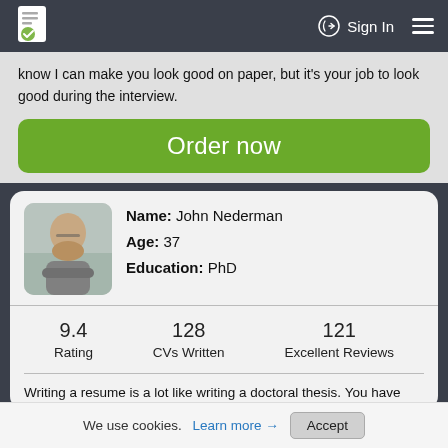Sign In  ≡
know I can make you look good on paper, but it's your job to look good during the interview.
Order now
Name: John Nederman
Age: 37
Education: PhD
9.4
Rating
128
CVs Written
121
Excellent Reviews
Writing a resume is a lot like writing a doctoral thesis. You have
We use cookies. Learn more → Accept